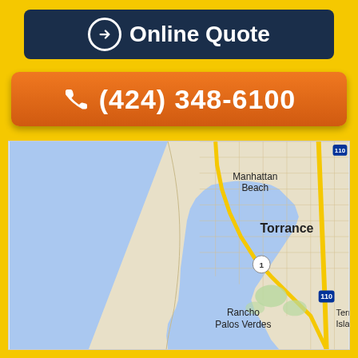[Figure (other): Online Quote button — dark navy rounded rectangle with right-arrow circle icon and bold white text 'Online Quote']
[Figure (other): Phone call button — orange rounded rectangle with phone handset icon and bold white text '(424) 348-6100']
[Figure (map): Google Maps screenshot showing Torrance, Manhattan Beach, Rancho Palos Verdes area of Los Angeles coastline. Ocean is light blue on left, city grid on right with yellow roads and highway markers for 110 and 1.]